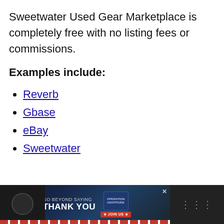Sweetwater Used Gear Marketplace is completely free with no listing fees or commissions.
Examples include:
Reverb
Gbase
eBay
Sweetwater
[Figure (photo): Advertisement banner: Operation Gratitude 'Go Beyond Saying Thank You' with Join Us button and people shaking hands]